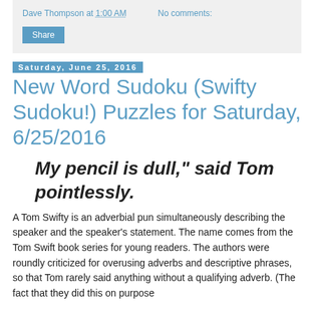Dave Thompson at 1:00 AM   No comments:   Share
Saturday, June 25, 2016
New Word Sudoku (Swifty Sudoku!) Puzzles for Saturday, 6/25/2016
My pencil is dull," said Tom pointlessly.
A Tom Swifty is an adverbial pun simultaneously describing the speaker and the speaker's statement. The name comes from the Tom Swift book series for young readers. The authors were roundly criticized for overusing adverbs and descriptive phrases, so that Tom rarely said anything without a qualifying adverb. (The fact that they did this on purpose